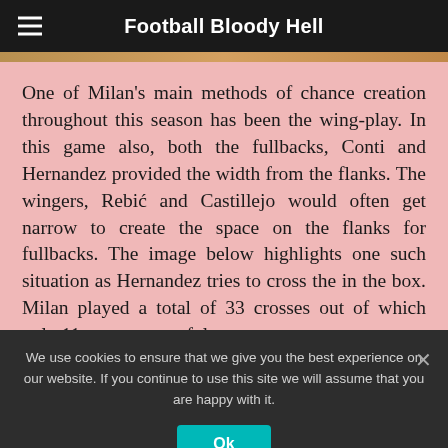Football Bloody Hell
One of Milan's main methods of chance creation throughout this season has been the wing-play. In this game also, both the fullbacks, Conti and Hernandez provided the width from the flanks. The wingers, Rebić and Castillejo would often get narrow to create the space on the flanks for fullbacks. The image below highlights one such situation as Hernandez tries to cross the in the box. Milan played a total of 33 crosses out of which only 11 were successful.
We use cookies to ensure that we give you the best experience on our website. If you continue to use this site we will assume that you are happy with it.